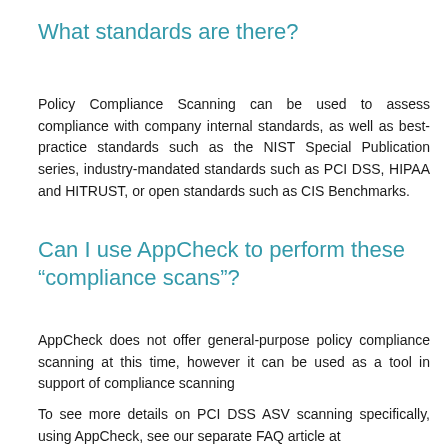What standards are there?
Policy Compliance Scanning can be used to assess compliance with company internal standards, as well as best-practice standards such as the NIST Special Publication series, industry-mandated standards such as PCI DSS, HIPAA and HITRUST, or open standards such as CIS Benchmarks.
Can I use AppCheck to perform these "compliance scans"?
AppCheck does not offer general-purpose policy compliance scanning at this time, however it can be used as a tool in support of compliance scanning
To see more details on PCI DSS ASV scanning specifically, using AppCheck, see our separate FAQ article at